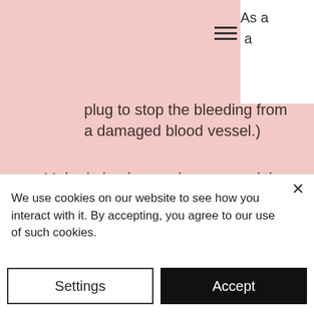plug to stop the bleeding from a damaged blood vessel.)
Moles/raised areas in or around the brow area (Pigment will not be put into anything raised.)
Deep wrinkles in the brow area (Hair strokes will not lay properly in the creases, giving the brow an uneven look.)
We use cookies on our website to see how you interact with it. By accepting, you agree to our use of such cookies.
Settings
Accept